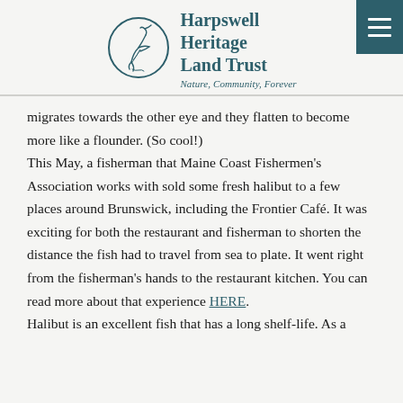[Figure (logo): Harpswell Heritage Land Trust logo with a circular bird illustration and text 'Harpswell Heritage Land Trust' and tagline 'Nature, Community, Forever']
migrates towards the other eye and they flatten to become more like a flounder.  (So cool!)
This May, a fisherman that Maine Coast Fishermen's Association works with sold some fresh halibut to a few places around Brunswick, including the Frontier Café.  It was exciting for both the restaurant and fisherman to shorten the distance the fish had to travel from sea to plate.  It went right from the fisherman's hands to the restaurant kitchen.  You can read more about that experience HERE.
Halibut is an excellent fish that has a long shelf-life.  As a